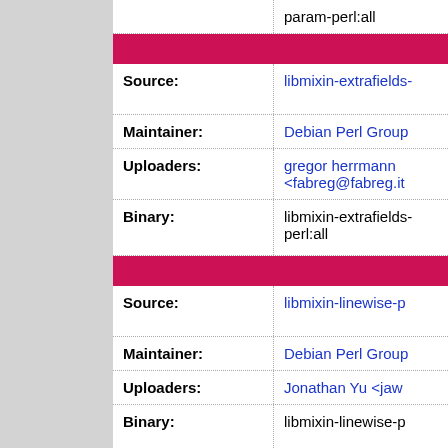| Label | Value |
| --- | --- |
|  | param-perl:all |
| Source: | libmixin-extrafields-... |
| Maintainer: | Debian Perl Group |
| Uploaders: | gregor herrmann <fabreg@fabreg.it> |
| Binary: | libmixin-extrafields-... perl:all |
| Source: | libmixin-linewise-p... |
| Maintainer: | Debian Perl Group |
| Uploaders: | Jonathan Yu <jaw... |
| Binary: | libmixin-linewise-p... |
| Source: | libmldbm-perl |
| Maintainer: | Debian Perl Group |